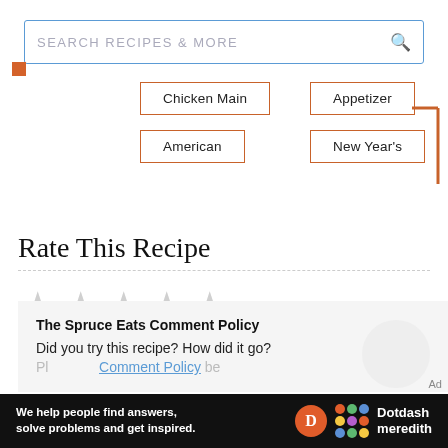SEARCH RECIPES & MORE
Chicken Main
Appetizer
American
New Year's
Rate This Recipe
[Figure (other): Five empty grey stars for rating]
The Spruce Eats Comment Policy
Did you try this recipe? How did it go?
[Figure (infographic): Dotdash Meredith ad banner: We help people find answers, solve problems and get inspired.]